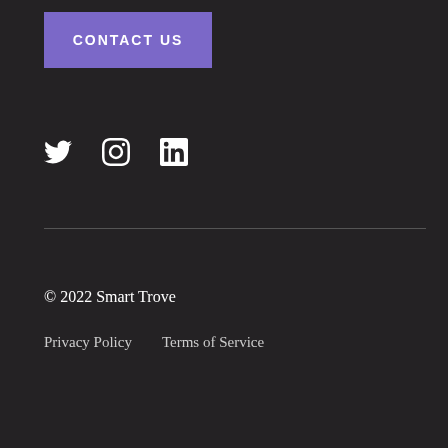CONTACT US
[Figure (infographic): Social media icons: Twitter, Instagram, LinkedIn]
© 2022 Smart Trove
Privacy Policy    Terms of Service